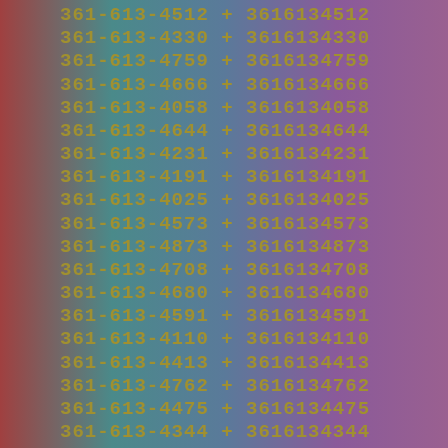361-613-4512 + 3616134512
361-613-4330 + 3616134330
361-613-4759 + 3616134759
361-613-4666 + 3616134666
361-613-4058 + 3616134058
361-613-4644 + 3616134644
361-613-4231 + 3616134231
361-613-4191 + 3616134191
361-613-4025 + 3616134025
361-613-4573 + 3616134573
361-613-4873 + 3616134873
361-613-4708 + 3616134708
361-613-4680 + 3616134680
361-613-4591 + 3616134591
361-613-4110 + 3616134110
361-613-4413 + 3616134413
361-613-4762 + 3616134762
361-613-4475 + 3616134475
361-613-4344 + 3616134344
361-613-4086 + 3616134086
361-613-4880 + 3616134880
361-613-4366 + 3616134366